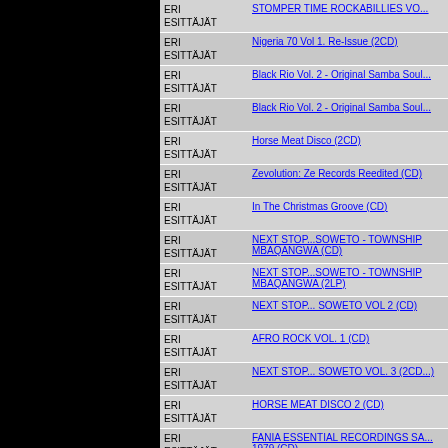| Esittäjä | Title |
| --- | --- |
| ERI ESITTÄJÄT | STOMPER TIME ROCKABILLIES VO... |
| ERI ESITTÄJÄT | Nigeria 70 Vol 1. Re-Issue (2CD) |
| ERI ESITTÄJÄT | Black Rio Vol. 2 - Original Samba Soul... |
| ERI ESITTÄJÄT | Black Rio Vol. 2 - Original Samba Soul... |
| ERI ESITTÄJÄT | Horse Meat Disco (2CD) |
| ERI ESITTÄJÄT | Zevolution: Ze Records Reedited (CD) |
| ERI ESITTÄJÄT | In The Christmas Groove (CD) |
| ERI ESITTÄJÄT | NEXT STOP...SOWETO - TOWNSHIP MBAQANGWA (CD) |
| ERI ESITTÄJÄT | NEXT STOP...SOWETO - TOWNSHIP MBAQANGWA (2LP) |
| ERI ESITTÄJÄT | NEXT STOP... SOWETO VOL 2 (CD) |
| ERI ESITTÄJÄT | AFRO ROCK VOL. 1 (CD) |
| ERI ESITTÄJÄT | NEXT STOP... SOWETO VOL. 3 (2CD...) |
| ERI ESITTÄJÄT | HORSE MEAT DISCO 2 (CD) |
| ERI ESITTÄJÄT | FANIA ESSENTIAL RECORDINGS SA... 1979 (CD) |
| ERI ESITTÄJÄT | SOFRITO: TROPICAL DISCOTHÈQUE... |
| ERI ESITTÄJÄT | FANIA RECORDS 1964-1980: THE OR... |
| ERI ESITTÄJÄT | FANIA RECORDS 1964-1980: THE OR... |
| ERI ESITTÄJÄT | NIGERIA 70 3RD - SWEET TIMES AF... (CD) |